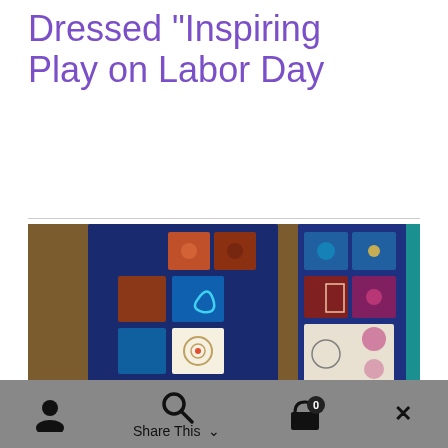Dressed  Inspiring Play on Labor Day
[Figure (photo): Photo of colorful patchwork fabric panels laid out on a wooden table, showing blue fabric with decorative embroidered or printed squares in orange, teal, gold, green, red, and other colors arranged in a grid pattern.]
Share This  ×  [person icon] [search icon] [cart icon with badge 0]